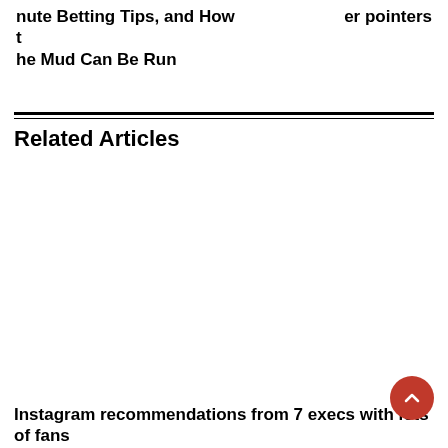nute Betting Tips, and How the Mud Can Be Run | er pointers
Related Articles
Instagram recommendations from 7 execs with lots of fans